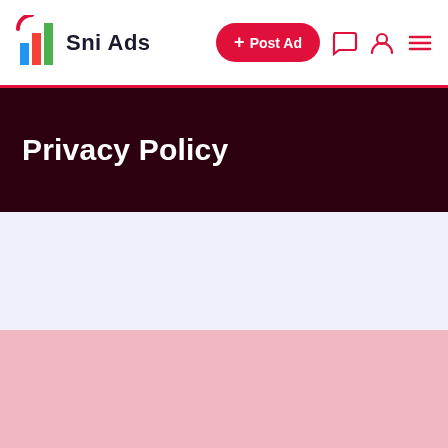SniAds — Navigation bar with logo, Post Ad button, chat icon, user icon, menu icon
Privacy Policy
[Figure (other): Light grayish-blue blank content area]
[Figure (other): Pink blank content area (loading placeholder or advertisement block)]